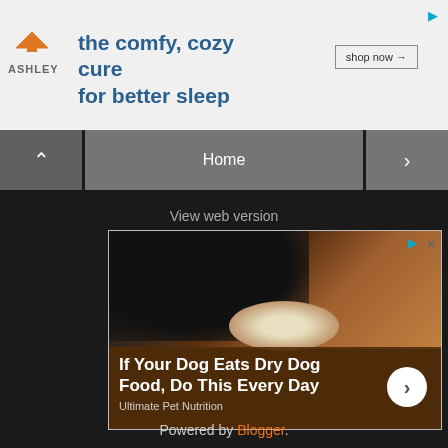[Figure (screenshot): Ashley Furniture ad banner with logo, tagline 'the comfy, cozy cure for better sleep', and 'shop now' button]
[Figure (screenshot): Mobile browser navigation bar with back arrow, Home button, and forward arrow]
View web version
[Figure (photo): Advertisement showing a black dog eating/licking food from a white bowl on a wooden floor, with text 'If Your Dog Eats Dry Dog Food, Do This Every Day' and 'Ultimate Pet Nutrition']
Powered by Blogger.